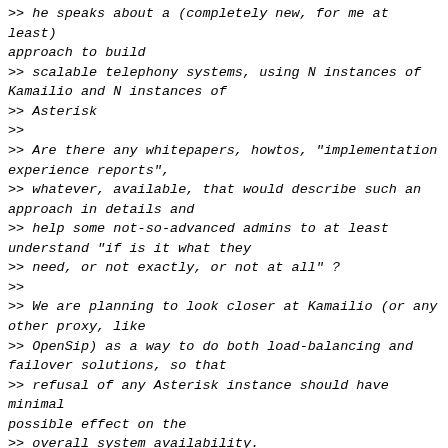>> he speaks about a (completely new, for me at least) approach to build
>> scalable telephony systems, using N instances of Kamailio and N instances of
>> Asterisk
>>
>> Are there any whitepapers, howtos, "implementation experience reports",
>> whatever, available, that would describe such an approach in details and
>> help some not-so-advanced admins to at least understand "if is it what they
>> need, or not exactly, or not at all" ?
>>
>> We are planning to look closer at Kamailio (or any other proxy, like
>> OpenSip) as a way to do both load-balancing and failover solutions, so that
>> refusal of any Asterisk instance should have minimal possible effect on the
>> overall system availability.
> The best documentation out there - that I'm personally aware of - is
> Daniel's guide on integrating Kamailio and Asterisk:
>
> http://kb.asipto.com/asterisk:realtime:kamailio-4.0.x-asterisk-11.3.0-astdb
>
> While there have been quite a few improvements made in Asterisk (and I